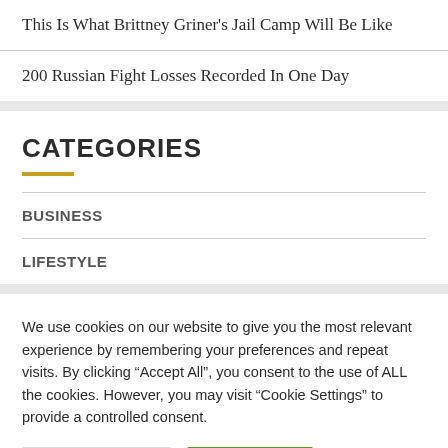This Is What Brittney Griner's Jail Camp Will Be Like
200 Russian Fight Losses Recorded In One Day
CATEGORIES
BUSINESS
LIFESTYLE
We use cookies on our website to give you the most relevant experience by remembering your preferences and repeat visits. By clicking “Accept All”, you consent to the use of ALL the cookies. However, you may visit “Cookie Settings” to provide a controlled consent.